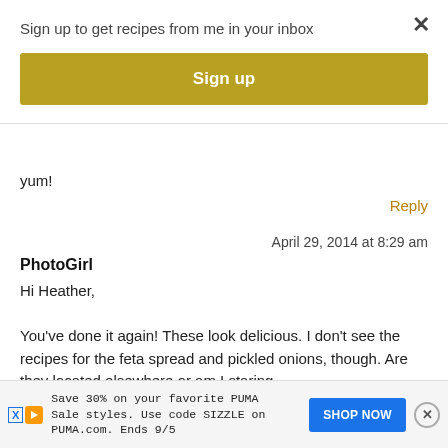Sign up to get recipes from me in your inbox
[Figure (screenshot): Yellow/gold Sign up button]
yum!
Reply
April 29, 2014 at 8:29 am
PhotoGirl
Hi Heather,
You've done it again! These look delicious. I don't see the recipes for the feta spread and pickled onions, though. Are they located elsewhere or am I staring right at them and totally missing something? Thank you po
[Figure (screenshot): PUMA advertisement banner: Save 30% on your favorite PUMA Sale styles. Use code SIZZLE on PUMA.com. Ends 9/5. SHOP NOW button.]